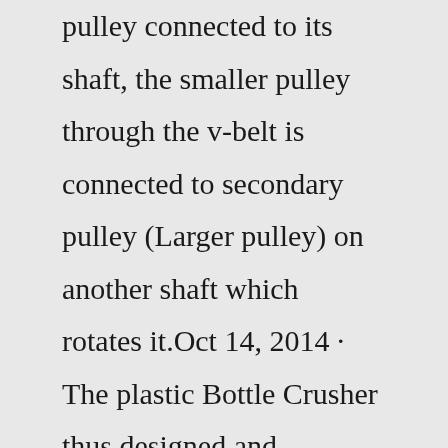pulley connected to its shaft, the smaller pulley through the v-belt is connected to secondary pulley (Larger pulley) on another shaft which rotates it.Oct 14, 2014 · The plastic Bottle Crusher thus designed and fabricated is a unique, compact and portable Plastic Bottle Crushing Machine. The final machine is an outcome of a series of processes, in which the first was analysis and study of requirements and conceptualization of machine, then the